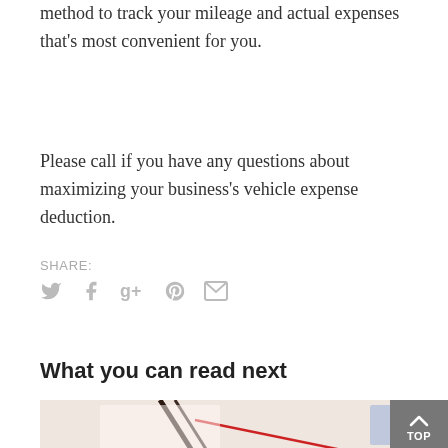method to track your mileage and actual expenses that's most convenient for you.
Please call if you have any questions about maximizing your business's vehicle expense deduction.
SHARE:
[Figure (other): Social share icons: Twitter bird, Facebook f, Google g+, Pinterest p, Email envelope — all in light grey]
What you can read next
[Figure (photo): Partial photo of document pages with pen and red line, light pinkish-beige tones]
[Figure (other): Grey TOP button with upward chevron arrow in bottom-right corner]